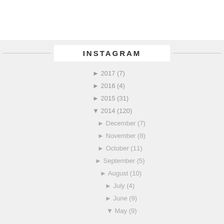INSTAGRAM
► 2017 (7)
► 2016 (4)
► 2015 (31)
▼ 2014 (120)
► December (7)
► November (8)
► October (11)
► September (5)
► August (10)
► July (4)
► June (9)
▼ May (9)